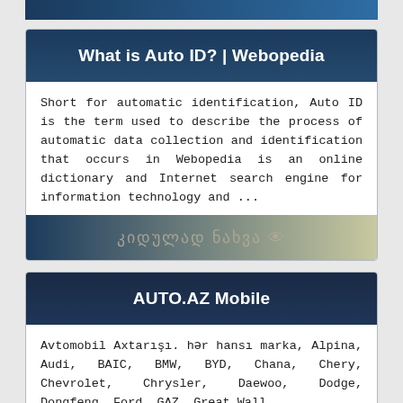What is Auto ID? | Webopedia
Short for automatic identification, Auto ID is the term used to describe the process of automatic data collection and identification that occurs in Webopedia is an online dictionary and Internet search engine for information technology and ...
[Figure (other): Georgian text overlay with eye icon on gradient background: კიდულად ნახვა 👁]
AUTO.AZ Mobile
Avtomobil Axtarışı. hər hansı marka, Alpina, Audi, BAIC, BMW, BYD, Chana, Chery, Chevrolet, Chrysler, Daewoo, Dodge, Dongfeng, Ford, GAZ, Great Wall ...